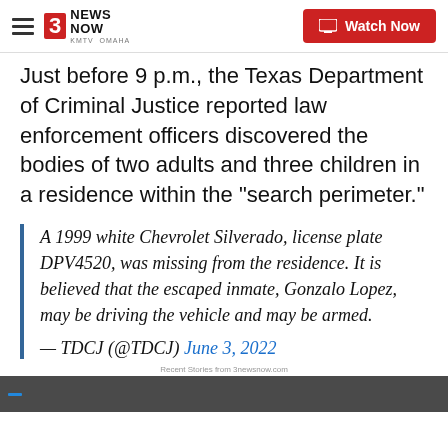3 News Now KMTV Omaha | Watch Now
Just before 9 p.m., the Texas Department of Criminal Justice reported law enforcement officers discovered the bodies of two adults and three children in a residence within the "search perimeter."
A 1999 white Chevrolet Silverado, license plate DPV4520, was missing from the residence. It is believed that the escaped inmate, Gonzalo Lopez, may be driving the vehicle and may be armed.

— TDCJ (@TDCJ) June 3, 2022
Recent Stories from 3newsnow.com
[Figure (screenshot): Dark video thumbnail at bottom of page]